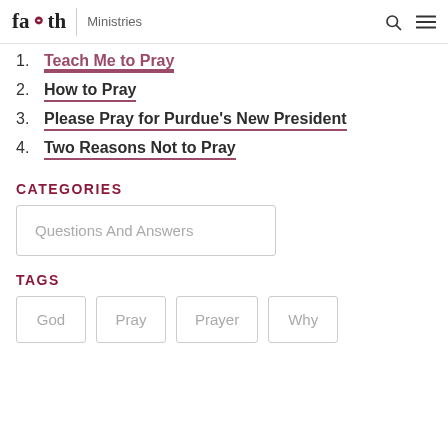faith | Ministries
1. Teach Me to Pray
2. How to Pray
3. Please Pray for Purdue's New President
4. Two Reasons Not to Pray
CATEGORIES
Questions And Answers
TAGS
God
Pray
Prayer
Why